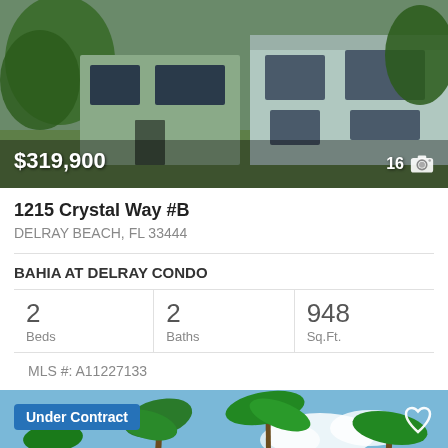[Figure (photo): Exterior photo of a condo unit with green landscaping and white/beige facade with price badge $319,900 and photo count 16]
1215 Crystal Way #B
DELRAY BEACH, FL 33444
BAHIA AT DELRAY CONDO
| Beds | Baths | Sq.Ft. |
| --- | --- | --- |
| 2 | 2 | 948 |
MLS #: A11227133
[Figure (photo): Exterior photo of a condo building with palm trees. Badge: Under Contract. Wheelchair accessibility icon visible. Heart/favorite icon in top right.]